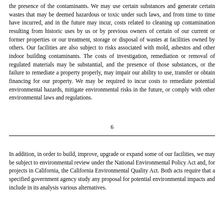the presence of the contaminants. We may use certain substances and generate certain wastes that may be deemed hazardous or toxic under such laws, and from time to time have incurred, and in the future may incur, costs related to cleaning up contamination resulting from historic uses by us or by previous owners of certain of our current or former properties or our treatment, storage or disposal of wastes at facilities owned by others. Our facilities are also subject to risks associated with mold, asbestos and other indoor building contaminants. The costs of investigation, remediation or removal of regulated materials may be substantial, and the presence of those substances, or the failure to remediate a property properly, may impair our ability to use, transfer or obtain financing for our property. We may be required to incur costs to remediate potential environmental hazards, mitigate environmental risks in the future, or comply with other environmental laws and regulations.
6
In addition, in order to build, improve, upgrade or expand some of our facilities, we may be subject to environmental review under the National Environmental Policy Act and, for projects in California, the California Environmental Quality Act. Both acts require that a specified government agency study any proposal for potential environmental impacts and include in its analysis various alternatives.